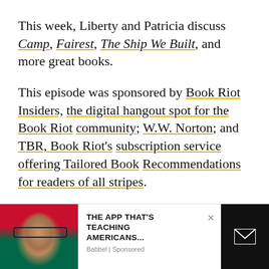This week, Liberty and Patricia discuss Camp, Fairest, The Ship We Built, and more great books.
This episode was sponsored by Book Riot Insiders, the digital hangout spot for the Book Riot community; W.W. Norton; and TBR, Book Riot's subscription service offering Tailored Book Recommendations for readers of all stripes.
Pick up an All the Books! 200th episode commemorative item here.
[Figure (screenshot): Ad banner: photo of a person with Mexican flag face paint, text reading 'THE APP THAT'S TEACHING AMERICANS...' with Babbel | Sponsored label, a close button, and a dark email/action button on the right.]